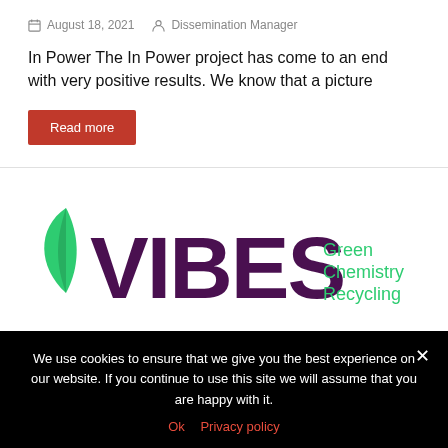August 18, 2021   Dissemination Manager
In Power The In Power project has come to an end with very positive results. We know that a picture
Read more
[Figure (logo): VIBES logo with green leaf and purple bold letters 'VIBES' and green text 'Green Chemistry Recycling' to the right]
We use cookies to ensure that we give you the best experience on our website. If you continue to use this site we will assume that you are happy with it.
Ok   Privacy policy